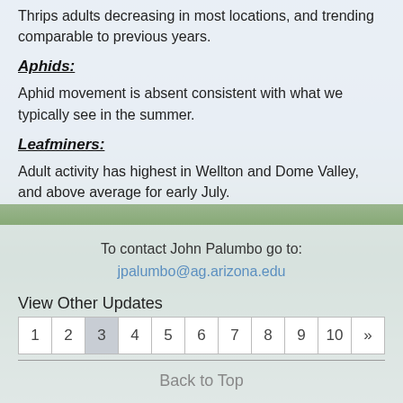Thrips adults decreasing in most locations, and trending comparable to previous years.
Aphids:
Aphid movement is absent consistent with what we typically see in the summer.
Leafminers:
Adult activity has highest in Wellton and Dome Valley, and above average for early July.
To contact John Palumbo go to: jpalumbo@ag.arizona.edu
View Other Updates
1 2 3 4 5 6 7 8 9 10 »
Back to Top